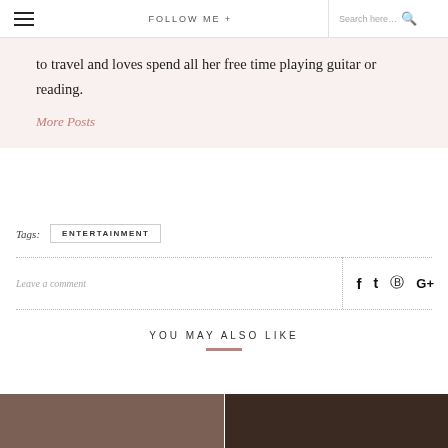≡ FOLLOW ME + Search here...
to travel and loves spend all her free time playing guitar or reading.
More Posts
Tags:  ENTERTAINMENT
Leave a comment
YOU MAY ALSO LIKE